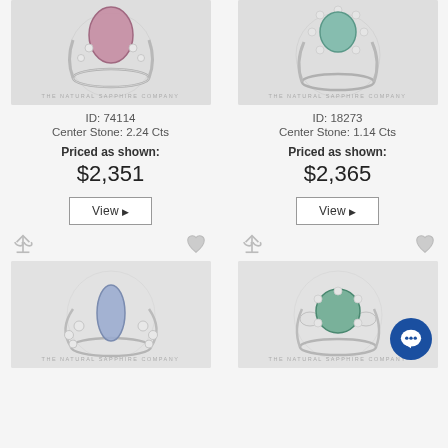[Figure (photo): Top-left: Ring with purple/pink gemstone center stone on white/gray background, The Natural Sapphire Company watermark]
[Figure (photo): Top-right: Ring with teal/green gemstone center stone surrounded by halo diamonds, The Natural Sapphire Company watermark]
ID: 74114
Center Stone: 2.24 Cts
Priced as shown:
$2,351
View
ID: 18273
Center Stone: 1.14 Cts
Priced as shown:
$2,365
View
[Figure (photo): Bottom-left: Ring with marquise-cut blue/lavender sapphire flanked by round diamonds, The Natural Sapphire Company watermark]
[Figure (photo): Bottom-right: Ring with round teal green sapphire flanked by smaller diamonds, chat bubble overlay icon, The Natural Sapphire Company watermark]